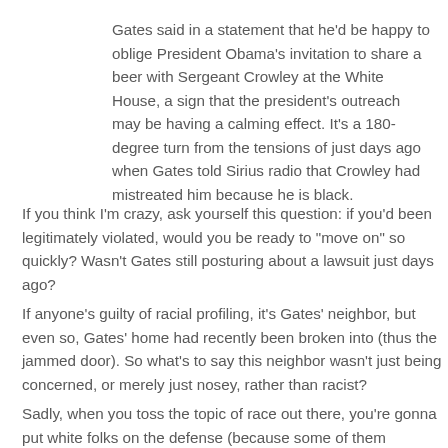Gates said in a statement that he'd be happy to oblige President Obama's invitation to share a beer with Sergeant Crowley at the White House, a sign that the president's outreach may be having a calming effect. It's a 180-degree turn from the tensions of just days ago when Gates told Sirius radio that Crowley had mistreated him because he is black.
If you think I'm crazy, ask yourself this question: if you'd been legitimately violated, would you be ready to "move on" so quickly? Wasn't Gates still posturing about a lawsuit just days ago?
If anyone's guilty of racial profiling, it's Gates' neighbor, but even so, Gates' home had recently been broken into (thus the jammed door). So what's to say this neighbor wasn't just being concerned, or merely just nosey, rather than racist?
Sadly, when you toss the topic of race out there, you're gonna put white folks on the defense (because some of them